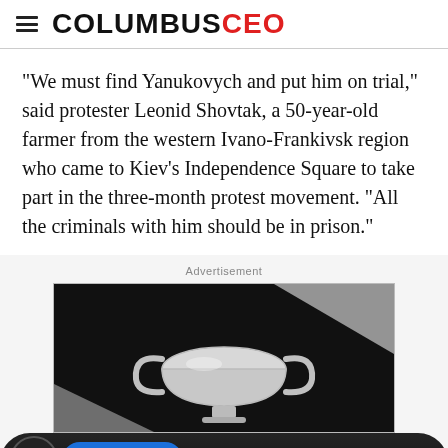COLUMBUSCEO
"We must find Yanukovych and put him on trial," said protester Leonid Shovtak, a 50-year-old farmer from the western Ivano-Frankivsk region who came to Kiev's Independence Square to take part in the three-month protest movement. "All the criminals with him should be in prison."
Advertisement
[Figure (photo): Advertisement image showing a silver trophy cup on a dark background]
Subscribe   Sign in